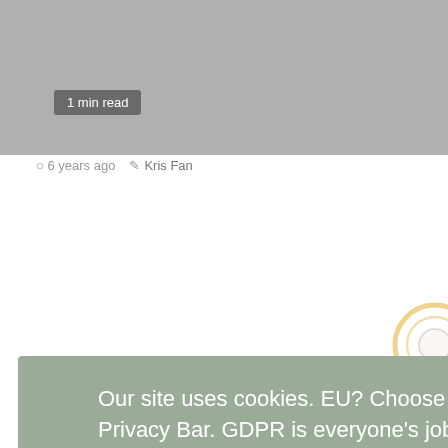[Figure (photo): Gray placeholder image at top of page]
1 min read
Endorsements  Friends  News  Personal & Family  Upcoming appearances
Kris Pays Tribute to Fred Foster August 2016
6 years ago  Kris Fan
Our site uses cookies. EU? Choose your options from our bottom right Privacy Bar. GDPR is everyone's job  Learn more
Got it!